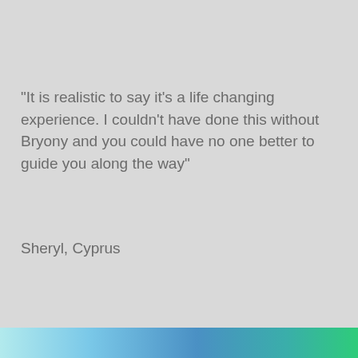"It is realistic to say it's a life changing experience. I couldn't have done this without Bryony and you could have no one better to guide you along the way"
Sheryl, Cyprus
[Figure (illustration): Gradient bar at the bottom of the page, transitioning from light blue on the left through blue and teal to green on the right]